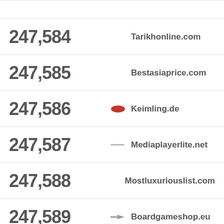247,584 Tarikhonline.com
247,585 Bestasiaprice.com
247,586 Keimling.de
247,587 Mediaplayerlite.net
247,588 Mostluxuriouslist.com
247,589 Boardgameshop.eu